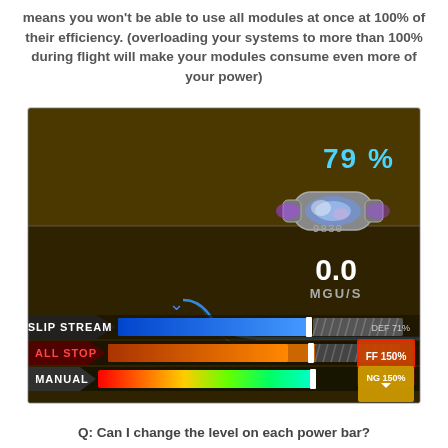means you won't be able to use all modules at once at 100% of their efficiency. (overloading your systems to more than 100% during flight will make your modules consume even more of your power)
[Figure (screenshot): Game UI screenshot showing a power management screen with a glowing module showing 79%, labeled 9830, displaying 0.0 MGU/S output, and three power bars: SLIP STREAM (DEF 71%), ALL STOP (FF 150% with red box), and MANUAL (NG 150% tooltip), with a blue curve path and chevron selector.]
Q: Can I change the level on each power bar?